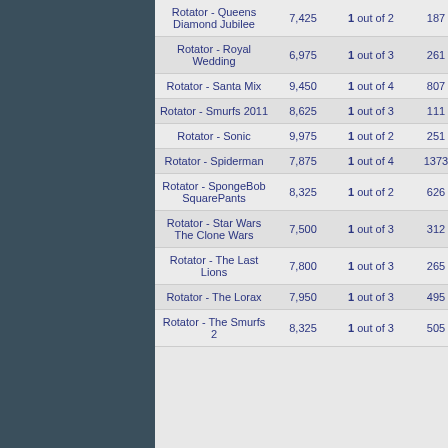| Name | Value | Position | Count | Extra |
| --- | --- | --- | --- | --- |
| Rotator - Queens Diamond Jubilee | 7,425 | 1 out of 2 | 187 | 14 |
| Rotator - Royal Wedding | 6,975 | 1 out of 3 | 261 | 18 |
| Rotator - Santa Mix | 9,450 | 1 out of 4 | 807 | 97 |
| Rotator - Smurfs 2011 | 8,625 | 1 out of 3 | 111 | 11 |
| Rotator - Sonic | 9,975 | 1 out of 2 | 251 | 17 |
| Rotator - Spiderman | 7,875 | 1 out of 4 | 1373 | 11 |
| Rotator - SpongeBob SquarePants | 8,325 | 1 out of 2 | 626 | 17 |
| Rotator - Star Wars The Clone Wars | 7,500 | 1 out of 3 | 312 | 11 |
| Rotator - The Last Lions | 7,800 | 1 out of 3 | 265 | 23 |
| Rotator - The Lorax | 7,950 | 1 out of 3 | 495 | 22 |
| Rotator - The Smurfs 2 | 8,325 | 1 out of 3 | 505 | 11 |